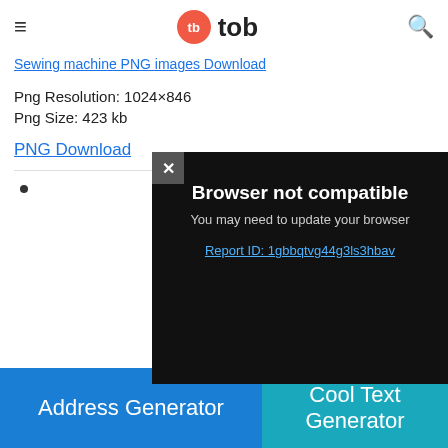tb tob
Sewing machine PNG images Download
Png Resolution: 1024×846
Png Size: 423 kb
PNG Download
•
[Figure (screenshot): Browser not compatible modal dialog on dark background. Shows close (×) button top-left, title 'Browser not compatible', subtitle 'You may need to update your browser', and a link 'Report ID: 1gbbqtvg44g3ls3hbav'. Bottom right says 'Powered by GliaStudio'.]
Powered by GliaStudio
Sewing machine PNG images Download
Address Generator
Cool Text Generator
Png Size: 475 kb